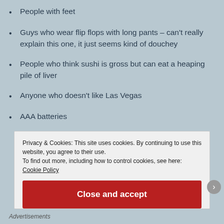People with feet
Guys who wear flip flops with long pants – can't really explain this one, it just seems kind of douchey
People who think sushi is gross but can eat a heaping pile of liver
Anyone who doesn't like Las Vegas
AAA batteries
Privacy & Cookies: This site uses cookies. By continuing to use this website, you agree to their use.
To find out more, including how to control cookies, see here: Cookie Policy
Close and accept
Advertisements